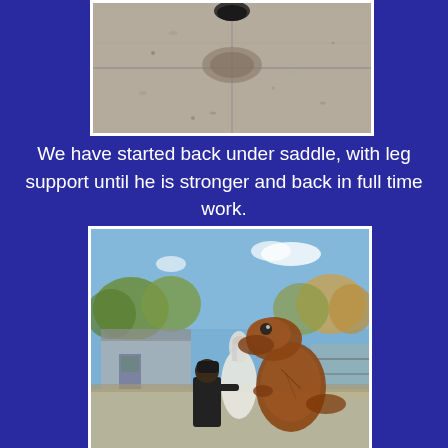[Figure (photo): Close-up photo of a horse hoof on sandy/gravelly ground, showing a partial view from above.]
We have started back under saddle, with leg support until he is stronger and back in full time work.
[Figure (photo): Outdoor photo at a stable/paddock showing a person in a black jacket holding a horse while a person in an inflatable T-Rex dinosaur costume stands nearby. Trees and stable buildings visible in background under blue sky.]